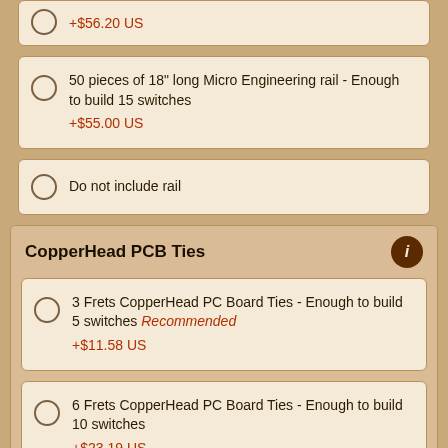+$56.20 US (partial, cut off at top)
50 pieces of 18" long Micro Engineering rail - Enough to build 15 switches +$55.00 US
Do not include rail
CopperHead PCB Ties
3 Frets CopperHead PC Board Ties - Enough to build 5 switches Recommended +$11.58 US
6 Frets CopperHead PC Board Ties - Enough to build 10 switches +$23.19 US